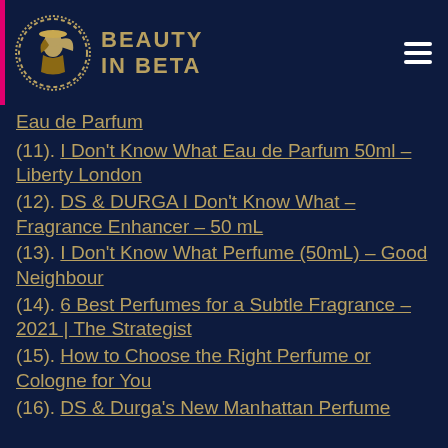BEAUTY IN BETA
Eau de Parfum
(11). I Don't Know What Eau de Parfum 50ml – Liberty London
(12). DS & DURGA I Don't Know What – Fragrance Enhancer – 50 mL
(13). I Don't Know What Perfume (50mL) – Good Neighbour
(14). 6 Best Perfumes for a Subtle Fragrance – 2021 | The Strategist
(15). How to Choose the Right Perfume or Cologne for You
(16). DS & Durga's New Manhattan Perfume